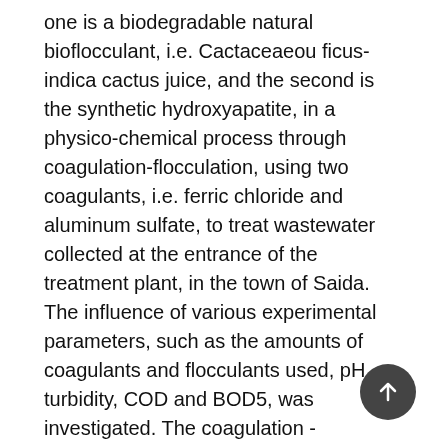one is a biodegradable natural bioflocculant, i.e. Cactaceaeou ficus-indica cactus juice, and the second is the synthetic hydroxyapatite, in a physico-chemical process through coagulation-flocculation, using two coagulants, i.e. ferric chloride and aluminum sulfate, to treat wastewater collected at the entrance of the treatment plant, in the town of Saida. The influence of various experimental parameters, such as the amounts of coagulants and flocculants used, pH, turbidity, COD and BOD5, was investigated. The coagulation - flocculation jar tests of wastewater reveal that ferric chloride, containing a mass of 0.3 g – hydroxyapatite, treated for 1 hour through calcination, is the most effective adjuvant in clarifying the wastewater, with turbidity equal to 98.16 %. In the presence of the two bioflocculants, Cactaceae juice and aluminum sulphate, with a dose of 0.2 g, flocculation is good, with